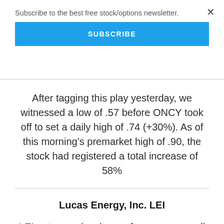Subscribe to the best free stock/options newsletter.
SUBSCRIBE
After tagging this play yesterday, we witnessed a low of .57 before ONCY took off to set a daily high of .74 (+30%). As of this morning's premarket high of .90, the stock had registered a total increase of 58%
Lucas Energy, Inc. LEI
LEI put up a pleasing performance as well